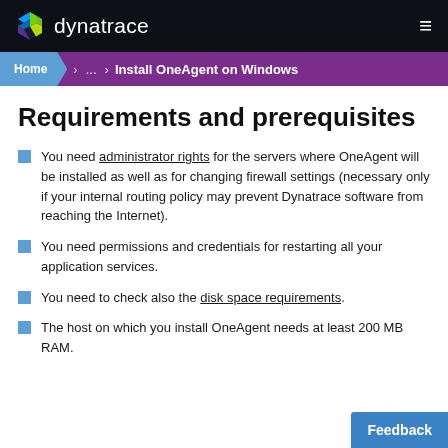dynatrace
Home > ... > Install OneAgent on Windows
Requirements and prerequisites
You need administrator rights for the servers where OneAgent will be installed as well as for changing firewall settings (necessary only if your internal routing policy may prevent Dynatrace software from reaching the Internet).
You need permissions and credentials for restarting all your application services.
You need to check also the disk space requirements.
The host on which you install OneAgent needs at least 200 MB RAM.